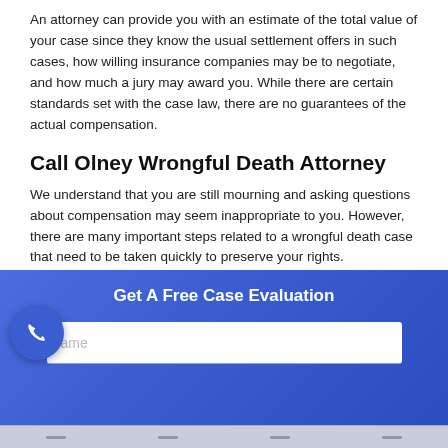An attorney can provide you with an estimate of the total value of your case since they know the usual settlement offers in such cases, how willing insurance companies may be to negotiate, and how much a jury may award you. While there are certain standards set with the case law, there are no guarantees of the actual compensation.
Call Olney Wrongful Death Attorney
We understand that you are still mourning and asking questions about compensation may seem inappropriate to you. However, there are many important steps related to a wrongful death case that need to be taken quickly to preserve your rights.
If you are ready to discuss your specific situation, let's start with a risk-free and free-of-charge initial consultation by phone. You can reach us out at 866-883-7127.
[Figure (infographic): Blue call-to-action box with title 'Get A Free Case Evaluation' and a name input field below it. A circular phone button overlays the left side.]